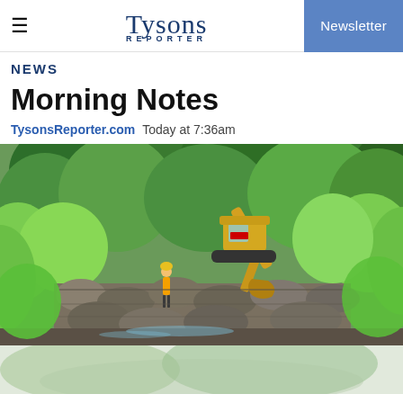Tysons Reporter — Newsletter
NEWS
Morning Notes
TysonsReporter.com  Today at 7:36am
[Figure (photo): An excavator and a construction worker among lush green trees and large rocks/boulders near a stream or waterway, outdoor daylight construction scene]